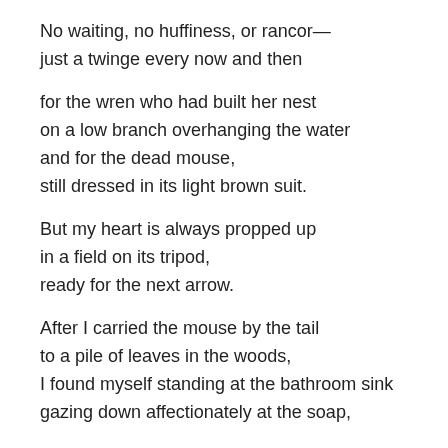No waiting, no huffiness, or rancor—
just a twinge every now and then

for the wren who had built her nest
on a low branch overhanging the water
and for the dead mouse,
still dressed in its light brown suit.

But my heart is always propped up
in a field on its tripod,
ready for the next arrow.

After I carried the mouse by the tail
to a pile of leaves in the woods,
I found myself standing at the bathroom sink
gazing down affectionately at the soap,

so patient and soluble,